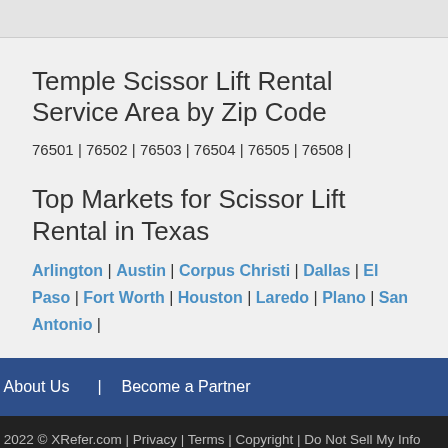[Figure (other): Top image placeholder/banner area (partially visible, gray rectangle)]
Temple Scissor Lift Rental Service Area by Zip Code
76501 | 76502 | 76503 | 76504 | 76505 | 76508 |
Top Markets for Scissor Lift Rental in Texas
Arlington | Austin | Corpus Christi | Dallas | El Paso | Fort Worth | Houston | Laredo | Plano | San Antonio |
About Us | Become a Partner
2022 © XRefer.com | Privacy | Terms | Copyright | Do Not Sell My Info